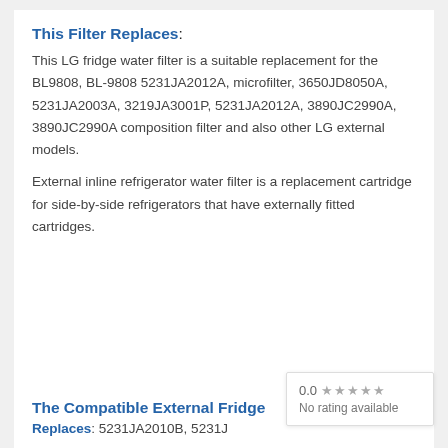This Filter Replaces:
This LG fridge water filter is a suitable replacement for the BL9808, BL-9808 5231JA2012A, microfilter, 3650JD8050A, 5231JA2003A, 3219JA3001P, 5231JA2012A, 3890JC2990A, 3890JC2990A composition filter and also other LG external models.
External inline refrigerator water filter is a replacement cartridge for side-by-side refrigerators that have externally fitted cartridges.
The Compatible External Fridge...
Replaces: 5231JA2010B, 5231J...